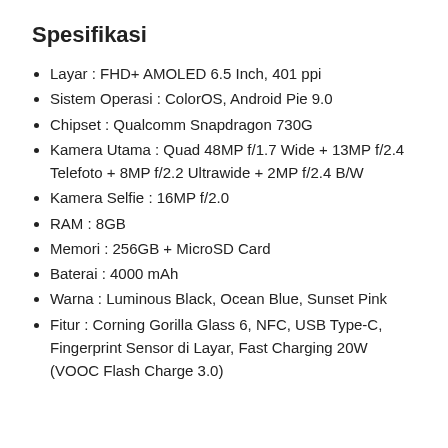Spesifikasi
Layar : FHD+ AMOLED 6.5 Inch, 401 ppi
Sistem Operasi : ColorOS, Android Pie 9.0
Chipset : Qualcomm Snapdragon 730G
Kamera Utama : Quad 48MP f/1.7 Wide + 13MP f/2.4 Telefoto + 8MP f/2.2 Ultrawide + 2MP f/2.4 B/W
Kamera Selfie : 16MP f/2.0
RAM : 8GB
Memori : 256GB + MicroSD Card
Baterai : 4000 mAh
Warna : Luminous Black, Ocean Blue, Sunset Pink
Fitur : Corning Gorilla Glass 6, NFC, USB Type-C, Fingerprint Sensor di Layar, Fast Charging 20W (VOOC Flash Charge 3.0)